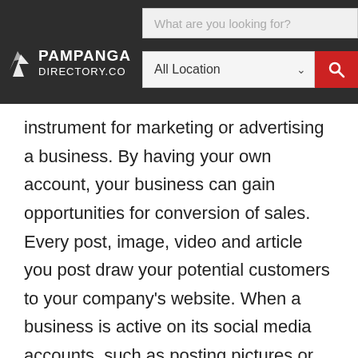[Figure (screenshot): Pampanga Directory website header with search bar showing 'What are you looking for?' placeholder text, logo 'PAMPANGA DIRECTORY.CO' with white text on dark background, location dropdown showing 'All Location', and red search button with magnifying glass icon.]
instrument for marketing or advertising a business. By having your own account, your business can gain opportunities for conversion of sales. Every post, image, video and article you post draw your potential customers to your company's website. When a business is active on its social media accounts, such as posting pictures or videos of their products and services or by replying to customer inquiries anytime, it generates a positive impression to its target market.